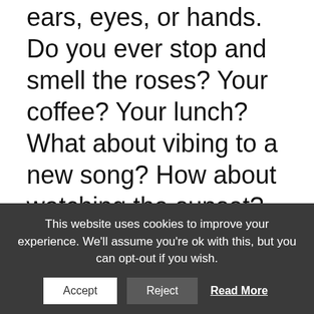ears, eyes, or hands. Do you ever stop and smell the roses? Your coffee? Your lunch? What about vibing to a new song? How about watching the sunset? Clearly, our senses can be the source of great pleasure.
When it comes to using our senses ferociously, we're no different from any other animal. Many smart
This website uses cookies to improve your experience. We'll assume you're ok with this, but you can opt-out if you wish.